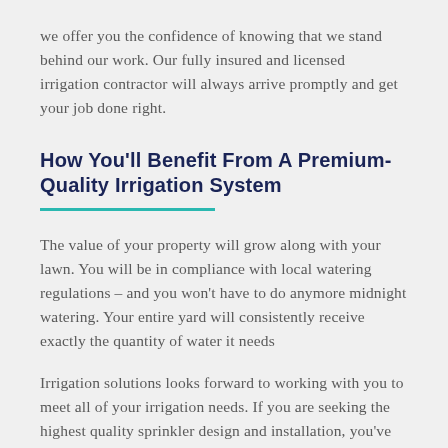we offer you the confidence of knowing that we stand behind our work. Our fully insured and licensed irrigation contractor will always arrive promptly and get your job done right.
How You'll Benefit From A Premium-Quality Irrigation System
The value of your property will grow along with your lawn. You will be in compliance with local watering regulations – and you won't have to do anymore midnight watering. Your entire yard will consistently receive exactly the quantity of water it needs
Irrigation solutions looks forward to working with you to meet all of your irrigation needs. If you are seeking the highest quality sprinkler design and installation, you've come to the right place. We have been named Contractor of the Year five times!